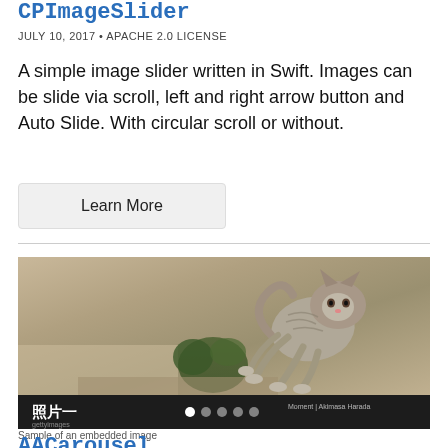CPImageSlider
JULY 10, 2017 • APACHE 2.0 LICENSE
A simple image slider written in Swift. Images can be slide via scroll, left and right arrow button and Auto Slide. With circular scroll or without.
Learn More
[Figure (screenshot): Screenshot of CPImageSlider showing a jumping kitten photo with Chinese caption '照片一', slide dots indicator, and Getty Images/Akimasa Harada credits at the bottom on a dark bar.]
Sample of an embedded image
AACarousel